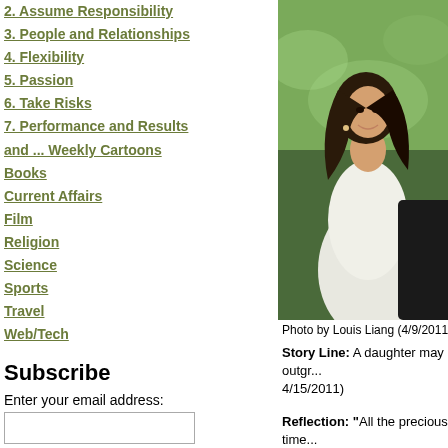2. Assume Responsibility
3. People and Relationships
4. Flexibility
5. Passion
6. Take Risks
7. Performance and Results
and ... Weekly Cartoons
Books
Current Affairs
Film
Religion
Science
Sports
Travel
Web/Tech
Subscribe
Enter your email address:
RSS Subscription
Cartoon Feed
Incorporate our cartoons in your site!
[Figure (photo): A smiling woman with dark hair wearing a white dress, possibly a wedding dress, photographed outdoors with greenery in the background. Photo by Louis Liang (4/9/2011).]
Photo by Louis Liang (4/9/2011)
Story Line: A daughter may outgr... 4/15/2011)
Reflection: "All the precious time... She'll change her name today. She... Standing in the bride-room just sta...